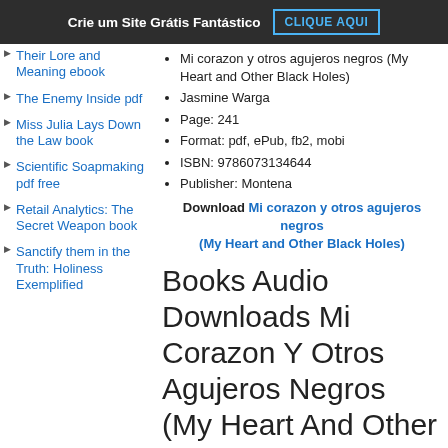Crie um Site Grátis Fantástico   CLIQUE AQUI
Their Lore and Meaning ebook
The Enemy Inside pdf
Miss Julia Lays Down the Law book
Scientific Soapmaking pdf free
Retail Analytics: The Secret Weapon book
Sanctify them in the Truth: Holiness Exemplified
Mi corazon y otros agujeros negros (My Heart and Other Black Holes)
Jasmine Warga
Page: 241
Format: pdf, ePub, fb2, mobi
ISBN: 9786073134644
Publisher: Montena
Download Mi corazon y otros agujeros negros (My Heart and Other Black Holes)
Books Audio Downloads Mi Corazon Y Otros Agujeros Negros (My Heart And Other Bl...